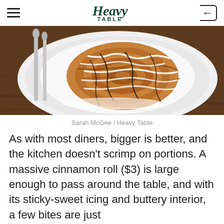Heavy Table
[Figure (photo): Overhead photo of a large cinnamon roll with white icing and chocolate drizzle on a white plate, with silverware visible on the left, on a wooden table surface.]
Sarah McGee / Heavy Table
As with most diners, bigger is better, and the kitchen doesn’t scrimp on portions. A massive cinnamon roll ($3) is large enough to pass around the table, and with its sticky-sweet icing and buttery interior, a few bites are just